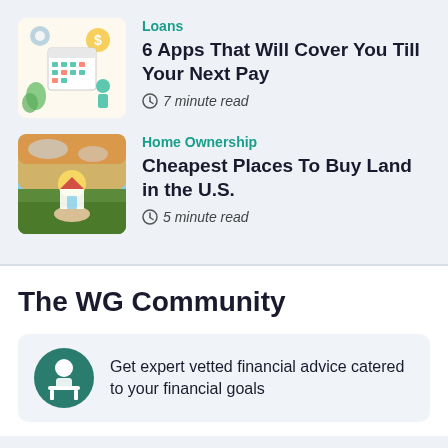[Figure (illustration): Colorful illustration with a person, calendar, gears, dollar sign, and financial icons on a light background]
Loans
6 Apps That Will Cover You Till Your Next Pay
7 minute read
[Figure (photo): Photo of a hand holding a small house model with a green field and sunset in the background]
Home Ownership
Cheapest Places To Buy Land in the U.S.
5 minute read
The WG Community
[Figure (illustration): Icon of a person sitting at a desk with a teal circular background]
Get expert vetted financial advice catered to your financial goals